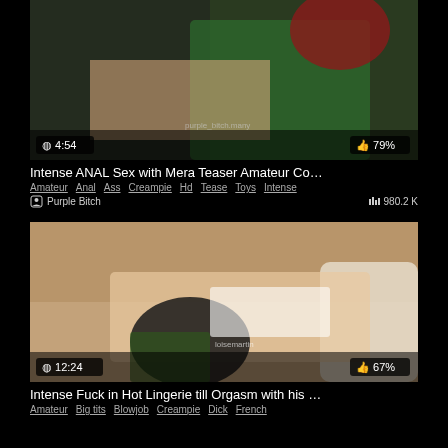[Figure (screenshot): Video thumbnail 1: cosplay scene with green bodysuit and red hair, duration 4:54, rating 79%]
Intense ANAL Sex with Mera Teaser Amateur Co…
Amateur  Anal  Ass  Creampie  Hd  Tease  Toys  Intense
Purple Bitch   980.2 K
[Figure (screenshot): Video thumbnail 2: lingerie scene on couch, duration 12:24, rating 67%]
Intense Fuck in Hot Lingerie till Orgasm with his …
Amateur  Big tits  Blowjob  Creampie  Dick  French